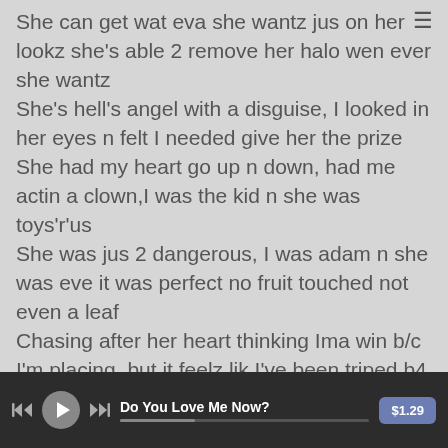She can get wat eva she wantz jus on her lookz she's able 2 remove her halo wen ever she wantz
She's hell's angel with a disguise, I looked in her eyes n felt I needed give her the prize
She had my heart go up n down, had me actin a clown,I was the kid n she was toys'r'us
She was jus 2 dangerous, I was adam n she was eve it was perfect no fruit touched not even a leaf
Chasing after her heart thinking Ima win b/c I'm placing, but it feelz lik I've been triped b4 the
Do You Love Me Now? $1.29